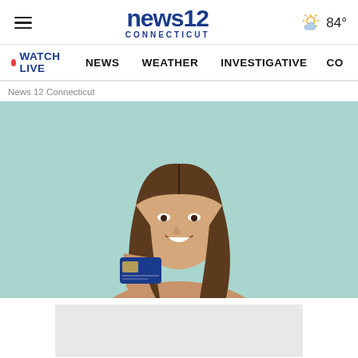news12 CONNECTICUT — WATCH LIVE | NEWS | WEATHER | INVESTIGATIVE | CO — 84°
News 12 Connecticut
[Figure (photo): Young woman with long brown hair, wearing a beige top and black choker necklace, smiling and holding a blue credit card, against a light teal background.]
[Figure (other): Gray advertisement placeholder box]